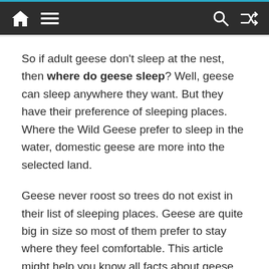Navigation bar with home, menu, search, and shuffle icons
So if adult geese don't sleep at the nest, then where do geese sleep? Well, geese can sleep anywhere they want. But they have their preference of sleeping places. Where the Wild Geese prefer to sleep in the water, domestic geese are more into the selected land.
Geese never roost so trees do not exist in their list of sleeping places. Geese are quite big in size so most of them prefer to stay where they feel comfortable. This article might help you know all facts about geese sleeping patterns and